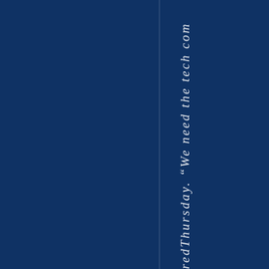redThursday. "We need the tech com